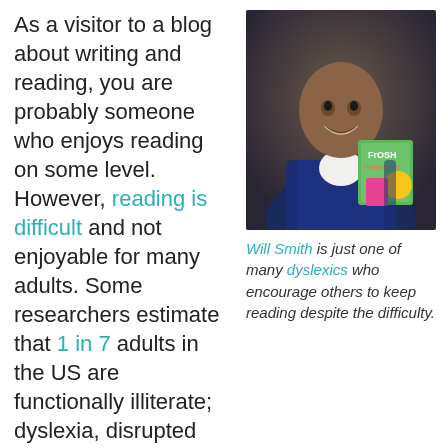As a visitor to a blog about writing and reading, you are probably someone who enjoys reading on some level. However, reading is difficult and not enjoyable for many adults. Some researchers estimate that 1 in 7 adults in the US are functionally illiterate; dyslexia, disrupted schooling, dyspraxia, and many other reasons could lead to a person reaching adulthood with only enough reading skill to be able to
[Figure (photo): Photo of Will Smith smiling and holding a children's book titled 'Fresh Princess']
Will Smith is just one of many dyslexics who encourage others to keep reading despite the difficulty.